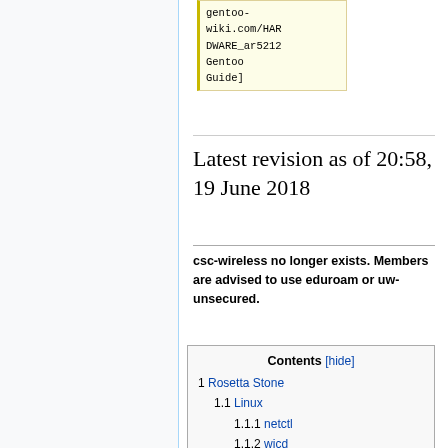[Figure (screenshot): Code box showing text: gentoo-wiki.com/HARDWARE_ar5212 Gentoo Guide]]
Latest revision as of 20:58, 19 June 2018
csc-wireless no longer exists. Members are advised to use eduroam or uw-unsecured.
| Contents [hide] |
| --- |
| 1 Rosetta Stone |
| 1.1 Linux |
| 1.1.1 netctl |
| 1.1.2 wicd |
| 1.1.3 wpa_supplicant |